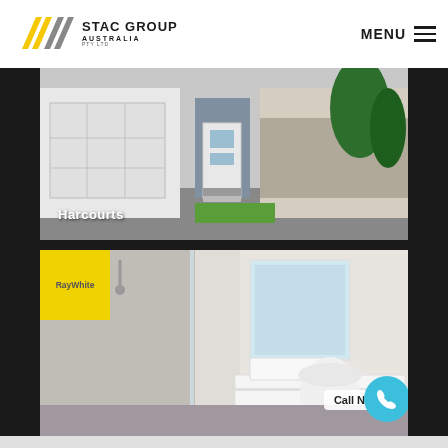[Figure (logo): STAC GROUP AUSTRALIA PTY LTD logo with yellow and grey chevron/arrow mark]
MENU ≡
[Figure (photo): Modern house facade with white garage door and glass entry door, stone wall and palm trees. Harcourts real estate logo overlay.]
[Figure (photo): Modern bathroom with walk-in shower, toilet and floating white vanity with mirror. RayWhite real estate badge in yellow top-left corner. Call Now! button with phone icon circle in bottom-right.]